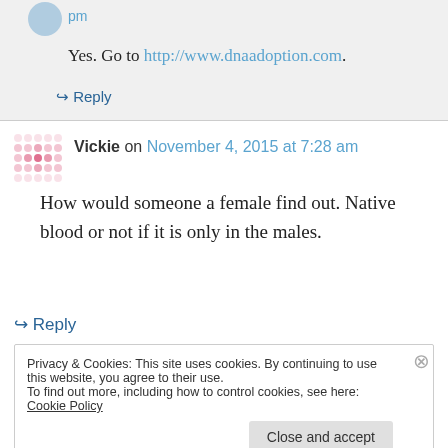pm
Yes. Go to http://www.dnaadoption.com.
↳ Reply
Vickie on November 4, 2015 at 7:28 am
How would someone a female find out. Native blood or not if it is only in the males.
↳ Reply
Privacy & Cookies: This site uses cookies. By continuing to use this website, you agree to their use.
To find out more, including how to control cookies, see here: Cookie Policy
Close and accept